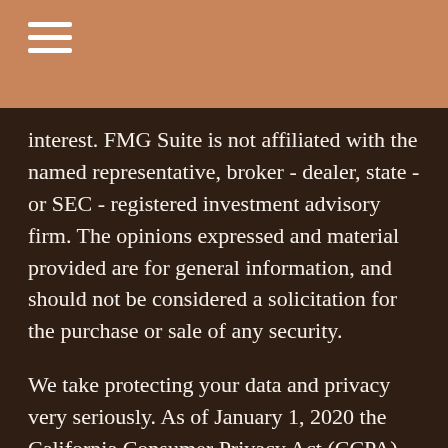[hamburger menu icon]
interest. FMG Suite is not affiliated with the named representative, broker - dealer, state - or SEC - registered investment advisory firm. The opinions expressed and material provided are for general information, and should not be considered a solicitation for the purchase or sale of any security.
We take protecting your data and privacy very seriously. As of January 1, 2020 the California Consumer Privacy Act (CCPA) suggests the following link as an extra measure to safeguard your data: Do not sell my personal information.
Copyright 2022 FMG Suite.
Please Note: The scope of any consulting services